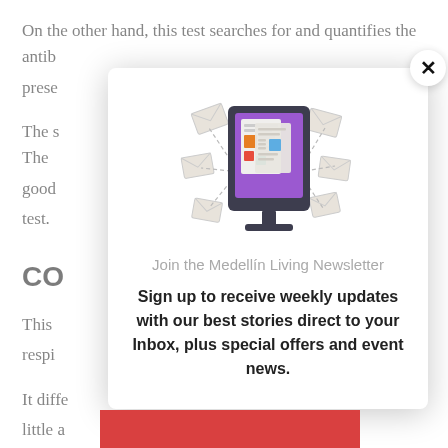On the other hand, this test searches for and quantifies the antib[odies] prese[nt]
The s[pecific...] The good [news is...] the test.
CO[VID-19 te]st
This [test searches for respiratory...] respi[ratory]
It diffe[rs...] n as little a[s...] a practi[cal...] e test must [be conduc]ted
[Figure (illustration): Newsletter signup modal with a monitor displaying newspaper/articles icon with envelope icons flying around it, overlaid on the article page. Modal text: 'Join the Medellín Living Newsletter' and 'Sign up to receive weekly updates with our best stories direct to your Inbox, plus special offers and event news.']